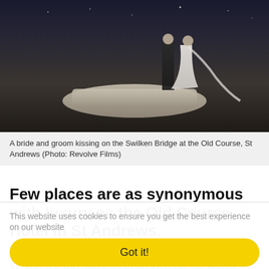[Figure (photo): A bride and groom kissing on the Swilken Bridge at the Old Course, St Andrews, photographed at dusk/evening]
A bride and groom kissing on the Swilken Bridge at the Old Course, St Andrews (Photo: Revolve Films)
Few places are as synonymous with luxury as the Old Course Hotel in St Andrews.
Whilst it's perhaps best known for its world-class golf course, the premium spa and five-star hotel facilities have all won the Old
This website uses cookies to ensure you get the best experience on our website
Got it!